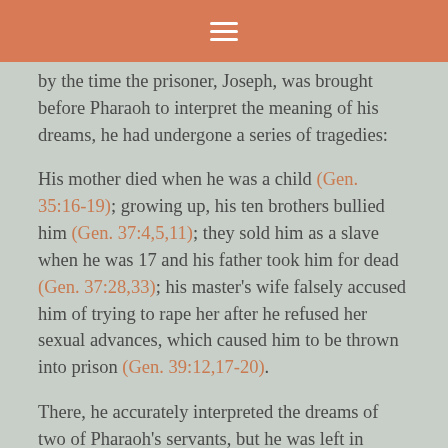≡
by the time the prisoner, Joseph, was brought before Pharaoh to interpret the meaning of his dreams, he had undergone a series of tragedies:
His mother died when he was a child (Gen. 35:16-19); growing up, his ten brothers bullied him (Gen. 37:4,5,11); they sold him as a slave when he was 17 and his father took him for dead (Gen. 37:28,33); his master's wife falsely accused him of trying to rape her after he refused her sexual advances, which caused him to be thrown into prison (Gen. 39:12,17-20).
There, he accurately interpreted the dreams of two of Pharaoh's servants, but he was left in prison for three more years (Gen. 40:9-14, 20-23).
Joseph was finally brought before Pharaoh at the age